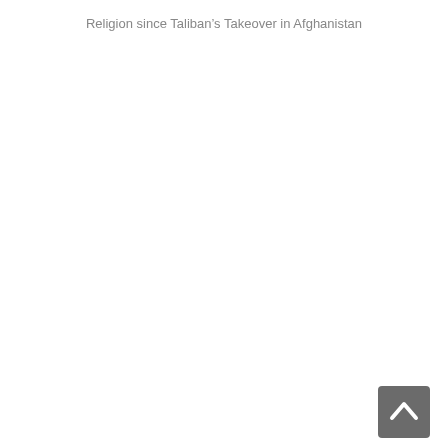Religion since Taliban’s Takeover in Afghanistan
[Figure (other): Back to top navigation button with upward chevron arrow icon, gray rounded rectangle button positioned at bottom right corner of page]